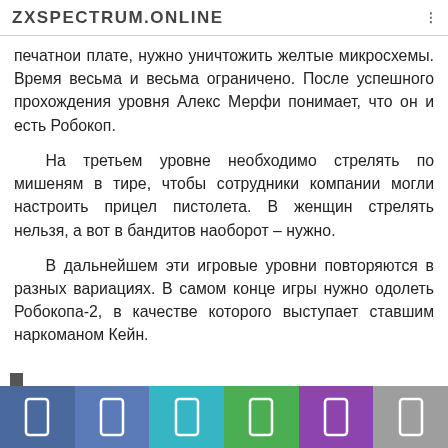ZXSPECTRUM.ONLINE
печатнои плате, нужно уничтожить желтые микросхемы. Время весьма и весьма ограничено. После успешного прохождения уровня Алекс Мерфи понимает, что он и есть Робокоп.
На третьем уровне необходимо стрелять по мишеням в тире, чтобы сотрудники компании могли настроить прицел пистолета. В женщин стрелять нельзя, а вот в бандитов наоборот – нужно.
В дальнейшем эти игровые уровни повторяются в разных вариациях. В самом конце игры нужно одолеть Робокопа-2, в качестве которого выступает ставшим наркоманом Кейн.
[Figure (other): Mobile navigation bottom bar with 6 colored tabs (blue, blue, cyan, green, purple, gray) each containing a white tablet/phone icon]